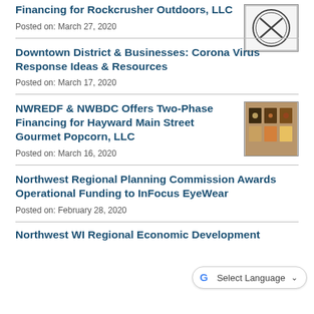Financing for Rockcrusher Outdoors, LLC
Posted on: March 27, 2020
Downtown District & Businesses: Corona Virus Response Ideas & Resources
Posted on: March 17, 2020
NWREDF & NWBDC Offers Two-Phase Financing for Hayward Main Street Gourmet Popcorn, LLC
Posted on: March 16, 2020
Northwest Regional Planning Commission Awards Operational Funding to InFocus EyeWear
Posted on: February 28, 2020
Northwest WI Regional Economic Development